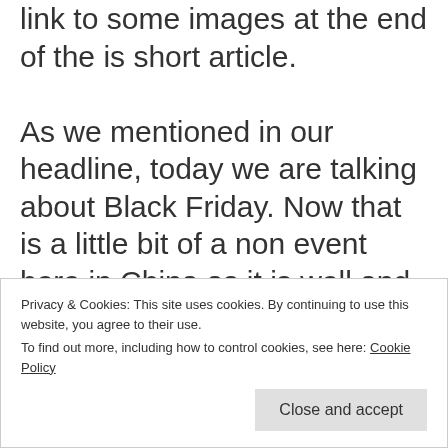link to some images at the end of the is short article.
As we mentioned in our headline, today we are talking about Black Friday. Now that is a little bit of a non event here in China as it is well and truly eclipsed by Double Eleven (11/11)
Privacy & Cookies: This site uses cookies. By continuing to use this website, you agree to their use.
To find out more, including how to control cookies, see here: Cookie Policy
Close and accept